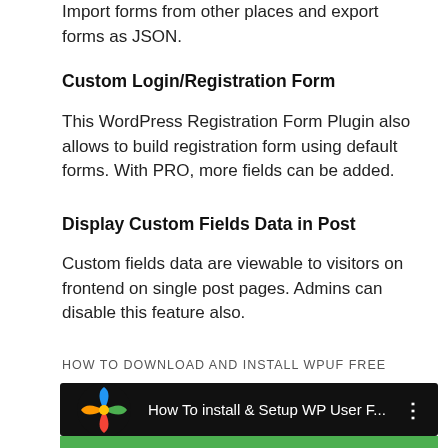Import forms from other places and export forms as JSON.
Custom Login/Registration Form
This WordPress Registration Form Plugin also allows to build registration form using default forms. With PRO, more fields can be added.
Display Custom Fields Data in Post
Custom fields data are viewable to visitors on frontend on single post pages. Admins can disable this feature also.
HOW TO DOWNLOAD AND INSTALL WPUF FREE
[Figure (screenshot): Video thumbnail showing 'How To install & Setup WP User F...' with a colorful pinwheel logo on black background and a green progress bar at the bottom.]